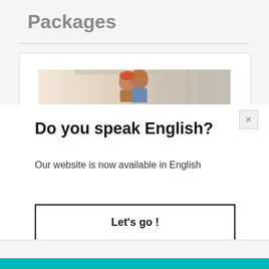Packages
[Figure (photo): Photo of a couple (a man and woman) smiling, cropped at top of a web page card]
Do you speak English?
Our website is now available in English
Let's go !